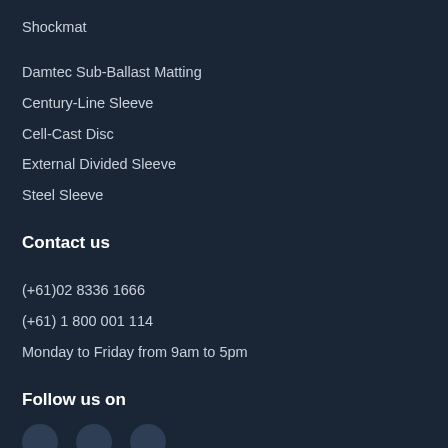Shockmat
Damtec Sub-Ballast Matting
Century-Line Sleeve
Cell-Cast Disc
External Divided Sleeve
Steel Sleeve
Contact us
(+61)02 8336 1666
(+61) 1 800 001 114
Monday to Friday from 9am to 5pm
Follow us on
[Figure (illustration): Three circular social media icon placeholders at the bottom of the page]